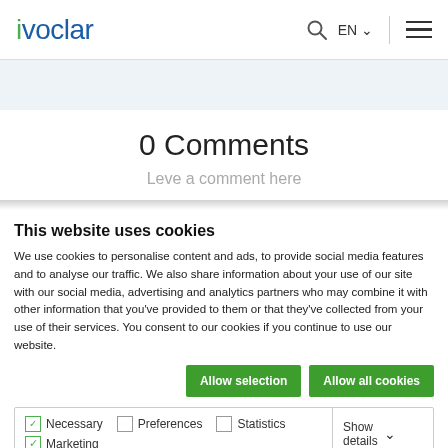ivoclar — EN (navigation header with search and menu icons)
0 Comments
Leve a comment here
This website uses cookies
We use cookies to personalise content and ads, to provide social media features and to analyse our traffic. We also share information about your use of our site with our social media, advertising and analytics partners who may combine it with other information that you've provided to them or that they've collected from your use of their services. You consent to our cookies if you continue to use our website.
Allow selection | Allow all cookies
Necessary (checked) | Preferences (unchecked) | Statistics (unchecked) | Marketing (checked) | Show details